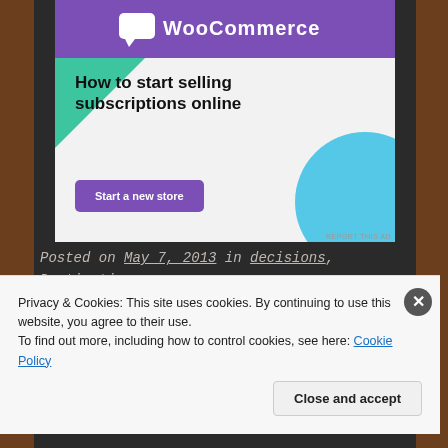[Figure (screenshot): WooCommerce advertisement banner: purple header with WooCommerce logo, green triangle shape, blue circle, text 'How to start selling subscriptions online', purple 'Start a new store' button]
Posted on May 7, 2013 in decisions, Destination: Self, ecconomic depressions of the heart, ethics, family, I said it, identity, life, meta, sequences of scenes. I once let a part of me die that day
Privacy & Cookies: This site uses cookies. By continuing to use this website, you agree to their use.
To find out more, including how to control cookies, see here: Cookie Policy
Close and accept